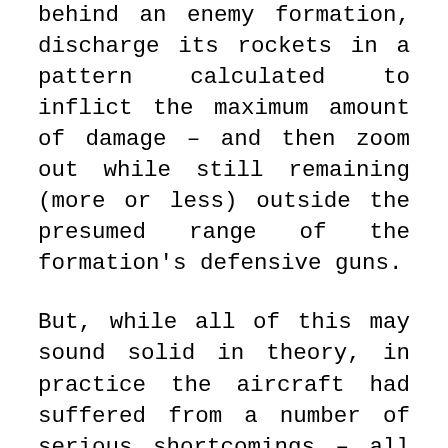behind an enemy formation, discharge its rockets in a pattern calculated to inflict the maximum amount of damage – and then zoom out while still remaining (more or less) outside the presumed range of the formation's defensive guns.
But, while all of this may sound solid in theory, in practice the aircraft had suffered from a number of serious shortcomings – all of which were a consequence of its transformation into something the original Sabre was never designed to be. The Mighty Mouse system, for example, was shown during tests to be inaccurate and